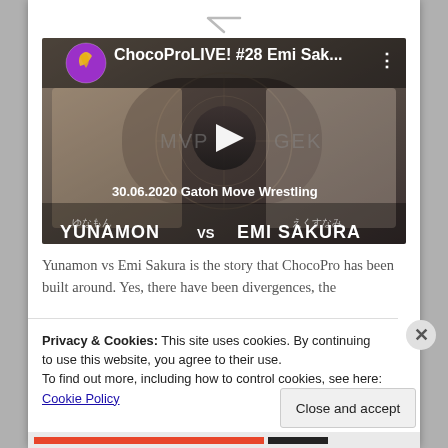[Figure (screenshot): YouTube video thumbnail for ChocoProLIVE! #28 Emi Sak... showing Yunamon vs Emi Sakura wrestling match with play button, purple channel icon with leaf logo, and text '30.06.2020 Gatoh Move Wrestling']
Yunamon vs Emi Sakura is the story that ChocoPro has been built around. Yes, there have been divergences, the
Privacy & Cookies: This site uses cookies. By continuing to use this website, you agree to their use.
To find out more, including how to control cookies, see here: Cookie Policy
Close and accept